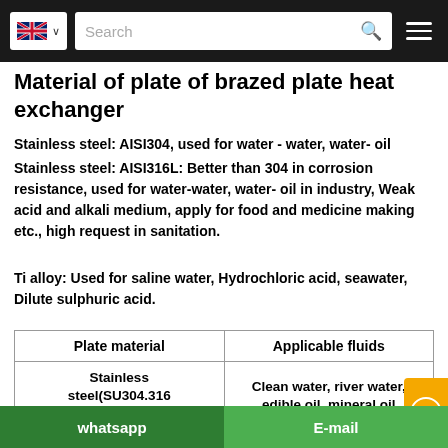Search [navigation bar with UK flag and menu icon]
Material of plate of brazed plate heat exchanger
Stainless steel: AISI304, used for water - water, water- oil
Stainless steel: AISI316L: Better than 304 in corrosion resistance, used for water-water, water- oil in industry, Weak acid and alkali medium, apply for food and medicine making etc., high request in sanitation.
Ti alloy: Used for saline water, Hydrochloric acid, seawater, Dilute sulphuric acid.
| Plate material | Applicable fluids |
| --- | --- |
| Stainless steel(SU304.316 ect) | Clean water, river water, edible oil, mineral oil |
| Stainless steel & Ti... | Sea water, dilute mineral... |
whatsapp   E-mail